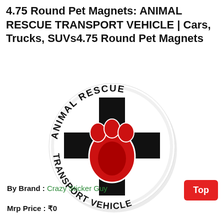4.75 Round Pet Magnets: ANIMAL RESCUE TRANSPORT VEHICLE | Cars, Trucks, SUVs4.75 Round Pet Magnets
[Figure (illustration): Round magnet sticker with black cross, red paw print in center, text 'ANIMAL RESCUE' arced on top and 'TRANSPORT VEHICLE' arced on bottom, white background with gray shadow]
By Brand : Crazy Sticker Guy
Mrp Price : ₹0
Top